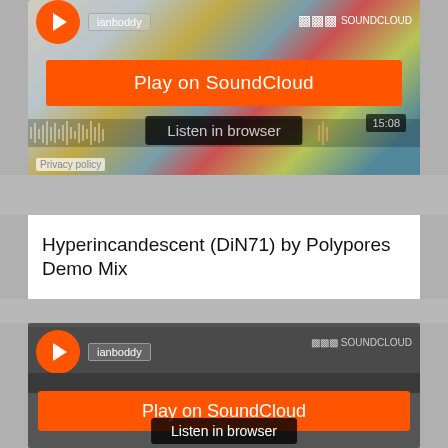[Figure (screenshot): SoundCloud embedded player showing ianboddy track with orange Play on SoundCloud button and Listen in browser button, waveform visible, time 15:08, colorful abstract artwork background]
Hyperincandescent (DiN71) by Polypores Demo Mix
[Figure (screenshot): Second SoundCloud embedded player for ianboddy showing orange Play on SoundCloud button and Listen in browser button]